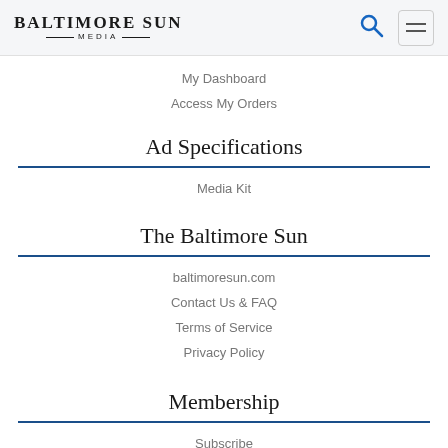BALTIMORE SUN MEDIA
My Dashboard
Access My Orders
Ad Specifications
Media Kit
The Baltimore Sun
baltimoresun.com
Contact Us & FAQ
Terms of Service
Privacy Policy
Membership
Subscribe